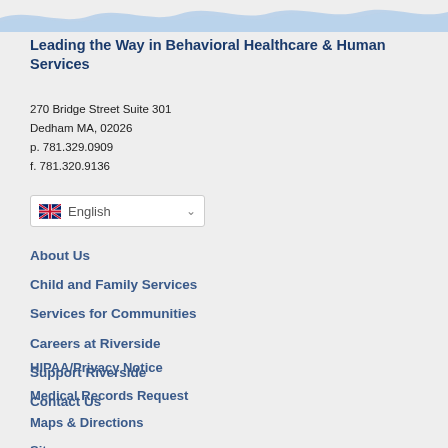[Figure (illustration): Decorative blue wave/water graphic at the top of the page with light blue wave pattern]
Leading the Way in Behavioral Healthcare & Human Services
270 Bridge Street Suite 301
Dedham MA, 02026
p. 781.329.0909
f. 781.320.9136
[Figure (screenshot): Language selector dropdown showing UK flag icon and text 'English' with a chevron/dropdown arrow]
About Us
Child and Family Services
Services for Communities
Careers at Riverside
Support Riverside
Contact Us
HIPAA/Privacy Notice
Medical Records Request
Maps & Directions
Sitemap